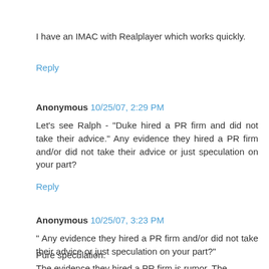I have an IMAC with Realplayer which works quickly.
Reply
Anonymous 10/25/07, 2:29 PM
Let's see Ralph - "Duke hired a PR firm and did not take their advice." Any evidence they hired a PR firm and/or did not take their advice or just speculation on your part?
Reply
Anonymous 10/25/07, 3:23 PM
" Any evidence they hired a PR firm and/or did not take their advice or just speculation on your part?"
Pure speculation.
The evidence they hired a PR firm is rumor. The possibility that they didn't take the advice they paid for is just that, as indicated by the phrase "not necessarily."